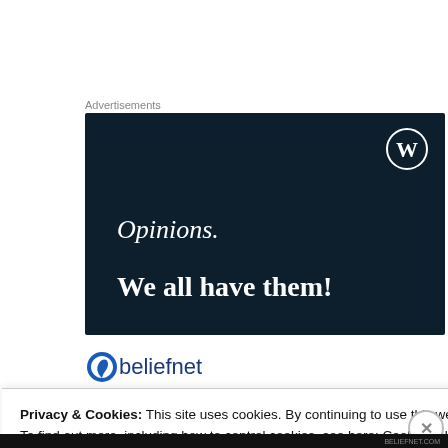Advertisements
[Figure (illustration): WordPress advertisement banner with dark navy background. Shows WordPress circular logo (W in circle) at top right. Text reads 'Opinions.' in italic serif font, then 'We all have them!' in bold serif font. Dark navy (#0d1f2d) background.]
[Figure (logo): Beliefnet logo: blue swirl/spiral icon followed by text 'beliefnet' in dark blue sans-serif font]
Privacy & Cookies: This site uses cookies. By continuing to use this website, you agree to their use.
To find out more, including how to control cookies, see here: Cookie Policy
Close and accept